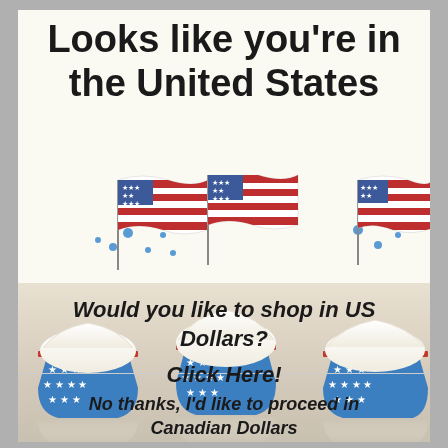Looks like you're in the United States
[Figure (illustration): Three American flags illustrated, waving, arranged in a row with some scattered confetti/dots]
[Figure (photo): Three cupcakes in patriotic American flag-themed blue and white star-patterned wrappers with white frosting, on a reflective surface]
Would you like to shop in US Dollars?
Click Here!
No thanks, I'd like to proceed in Canadian Dollars